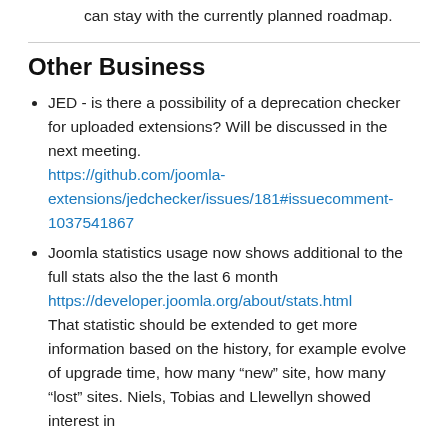can stay with the currently planned roadmap.
Other Business
JED - is there a possibility of a deprecation checker for uploaded extensions? Will be discussed in the next meeting. https://github.com/joomla-extensions/jedchecker/issues/181#issuecomment-1037541867
Joomla statistics usage now shows additional to the full stats also the the last 6 month https://developer.joomla.org/about/stats.html That statistic should be extended to get more information based on the history, for example evolve of upgrade time, how many “new” site, how many “lost” sites. Niels, Tobias and Llewellyn showed interest in